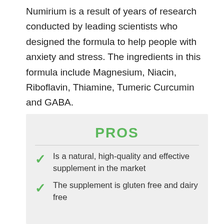Numirium is a result of years of research conducted by leading scientists who designed the formula to help people with anxiety and stress. The ingredients in this formula include Magnesium, Niacin, Riboflavin, Thiamine, Tumeric Curcumin and GABA.
PROS
Is a natural, high-quality and effective supplement in the market
The supplement is gluten free and dairy free